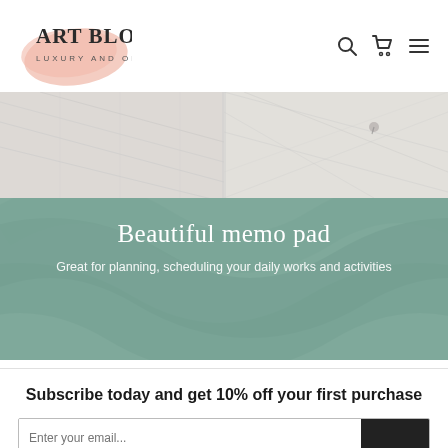[Figure (logo): Art Bloss logo with pink blob shape and text 'ART BLOSS LUXURY AND ORIGINAL']
[Figure (screenshot): E-commerce website header with navigation icons (search, cart, menu) and a promotional banner showing a memo pad product with teal/green background. Banner text: 'Beautiful memo pad' and 'Great for planning, scheduling your daily works and activities']
Subscribe today and get 10% off your first purchase